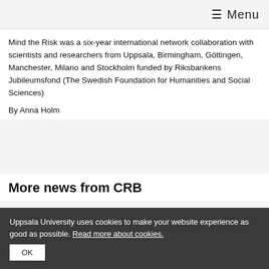☰ Menu
Mind the Risk was a six-year international network collaboration with scientists and researchers from Uppsala, Birmingham, Göttingen, Manchester, Milano and Stockholm funded by Riksbankens Jubileumsfond (The Swedish Foundation for Humanities and Social Sciences)
By Anna Holm
More news from CRB
Uppsala University uses cookies to make your website experience as good as possible. Read more about cookies.